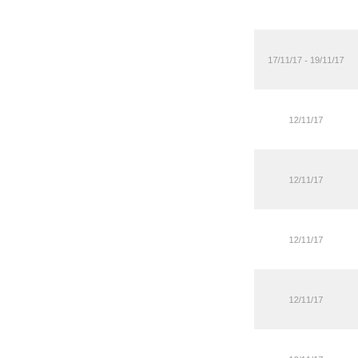| Date |
| --- |
|  |
| 17/11/17 - 19/11/17 |
| 12/11/17 |
| 12/11/17 |
| 12/11/17 |
| 12/11/17 |
| 10/11/17 |
|  |